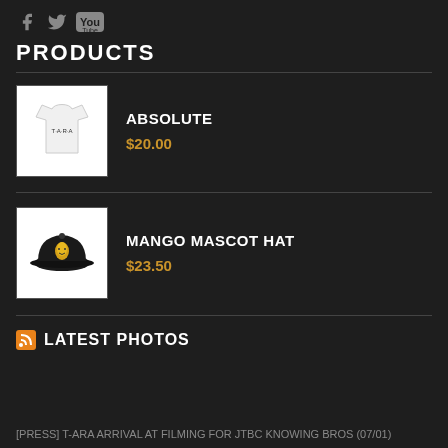PRODUCTS
ABSOLUTE
$20.00
MANGO MASCOT HAT
$23.50
LATEST PHOTOS
[PRESS] T-ARA ARRIVAL AT FILMING FOR JTBC KNOWING BROS (07/01)